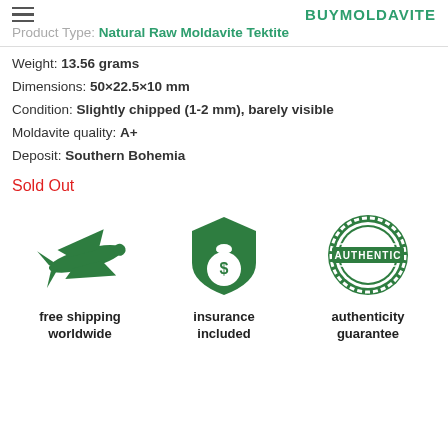BUYMOLDAVITE
Product Type: Natural Raw Moldavite Tektite
Weight: 13.56 grams
Dimensions: 50×22.5×10 mm
Condition: Slightly chipped (1-2 mm), barely visible
Moldavite quality: A+
Deposit: Southern Bohemia
Sold Out
[Figure (infographic): Three green icons: airplane (free shipping worldwide), shield with money bag (insurance included), authentic stamp (authenticity guarantee)]